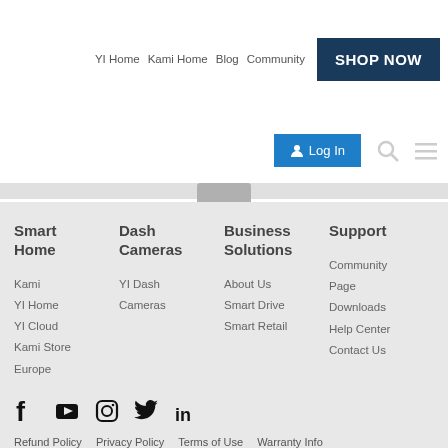YI Home  Kami Home  Blog  Community  SHOP NOW
Log In
Smart Home
Kami
YI Home
YI Cloud
Kami Store Europe
Dash Cameras
YI Dash Cameras
Business Solutions
About Us
Smart Drive
Smart Retail
Support
Community Page
Downloads
Help Center
Contact Us
[Figure (infographic): Social media icons row: Facebook, YouTube, Instagram, Twitter, LinkedIn]
Refund Policy  Privacy Policy  Terms of Use  Warranty Info